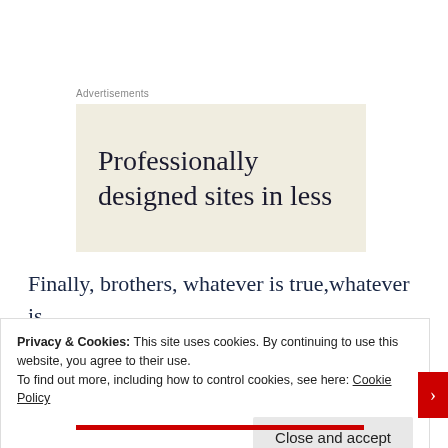Advertisements
[Figure (illustration): Advertisement banner with beige/cream background showing text: Professionally designed sites in less]
Finally, brothers, whatever is true,whatever is honorable, whatever is right, whatever is pure, whatever is lovely, whatever is admirable — if anything is excellent or praiseworthy — think on
Privacy & Cookies: This site uses cookies. By continuing to use this website, you agree to their use.
To find out more, including how to control cookies, see here: Cookie Policy
Close and accept